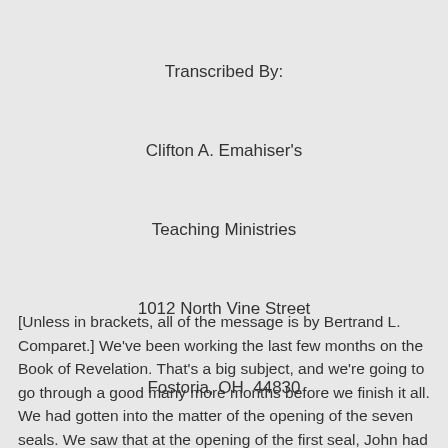Transcribed By:

Clifton A. Emahiser's

Teaching Ministries

1012 North Vine Street

Fostoria, OH  44830

Phone (419) 435-2836
[Unless in brackets, all of the message is by Bertrand L. Comparet.] We've been working the last few months on the Book of Revelation. That's a big subject, and we're going to go through a good many more months before we finish it all. We had gotten into the matter of the opening of the seven seals. We saw that at the opening of the first seal, John had a vision of a white horse. The man who rode upon the horse wore a crown. He was given a bow and went out conquering, and continued conquering,